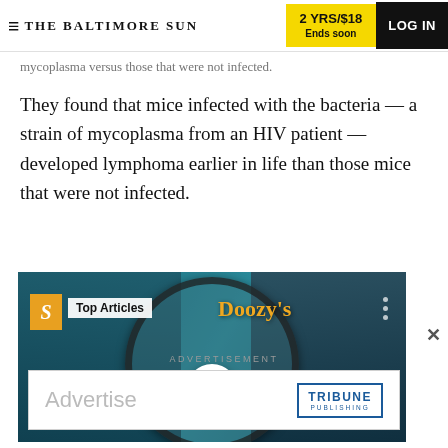THE BALTIMORE SUN | 2 YRS/$18 Ends soon | LOG IN
mycoplasma versus those that were not infected.
They found that mice infected with the bacteria — a strain of mycoplasma from an HIV patient — developed lymphoma earlier in life than those mice that were not infected.
[Figure (screenshot): Video thumbnail showing two men smiling with a magnifying glass overlay, Doozy's sign in background, Top Articles label, play button in center]
ADVERTISEMENT
[Figure (screenshot): Advertisement banner with 'Advertise' text on left and Tribune Publishing logo on right]